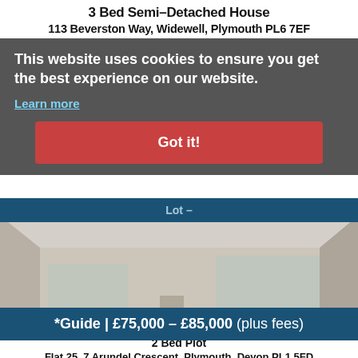3 Bed Semi-Detached House
113 Beverston Way, Widewell, Plymouth PL6 7EF
This website uses cookies to ensure you get the best experience on our website.
Learn more
Lot –
Got it!
[Figure (photo): Interior of a house under renovation, showing a bare concrete/dusty floor with construction materials, cables, tools, and debris scattered around. Bare walls visible with windows in background.]
*Guide | £75,000 – £85,000 (plus fees)
2 Bed Plot
Flat 25, 7 Arundel Crescent, Plymouth, Devon PL1 5FD